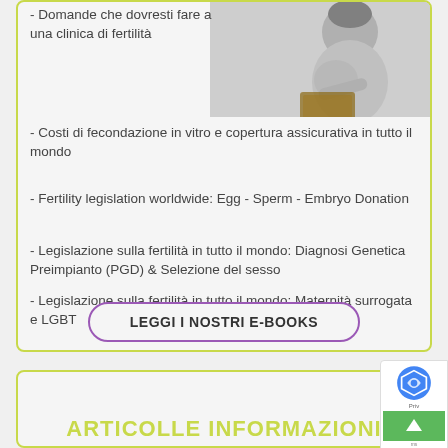[Figure (photo): Pregnant woman in white dress looking at a book/tablet, black and white photo]
- Domande che dovresti fare a una clinica di fertilità
- Costi di fecondazione in vitro e copertura assicurativa in tutto il mondo
- Fertility legislation worldwide: Egg - Sperm - Embryo Donation
- Legislazione sulla fertilità in tutto il mondo: Diagnosi Genetica Preimpianto (PGD) & Selezione del sesso
- Legislazione sulla fertilità in tutto il mondo: Maternità surrogata e LGBT
LEGGI I NOSTRI E-BOOKS
ARTICOLLE INFORMAZIONI